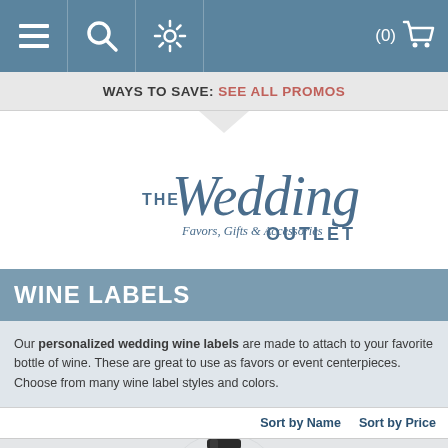Navigation bar with menu, search, settings icons and cart (0)
WAYS TO SAVE: SEE ALL PROMOS
[Figure (logo): The Wedding Outlet logo - script and serif text reading 'THE Wedding Outlet - Favors, Gifts & Accessories']
WINE LABELS
Our personalized wedding wine labels are made to attach to your favorite bottle of wine. These are great to use as favors or event centerpieces. Choose from many wine label styles and colors.
Sort by Name   Sort by Price
[Figure (photo): Bottom of a wine bottle neck visible at the bottom of the page]